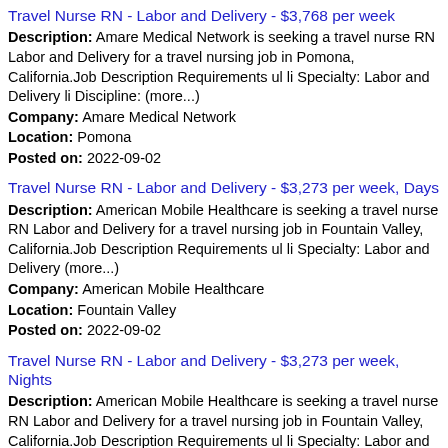Travel Nurse RN - Labor and Delivery - $3,768 per week
Description: Amare Medical Network is seeking a travel nurse RN Labor and Delivery for a travel nursing job in Pomona, California.Job Description Requirements ul li Specialty: Labor and Delivery li Discipline: (more...) Company: Amare Medical Network Location: Pomona Posted on: 2022-09-02
Travel Nurse RN - Labor and Delivery - $3,273 per week, Days
Description: American Mobile Healthcare is seeking a travel nurse RN Labor and Delivery for a travel nursing job in Fountain Valley, California.Job Description Requirements ul li Specialty: Labor and Delivery (more...) Company: American Mobile Healthcare Location: Fountain Valley Posted on: 2022-09-02
Travel Nurse RN - Labor and Delivery - $3,273 per week, Nights
Description: American Mobile Healthcare is seeking a travel nurse RN Labor and Delivery for a travel nursing job in Fountain Valley, California.Job Description Requirements ul li Specialty: Labor and Delivery (more...) Company: American Mobile Healthcare Location: Fountain Valley